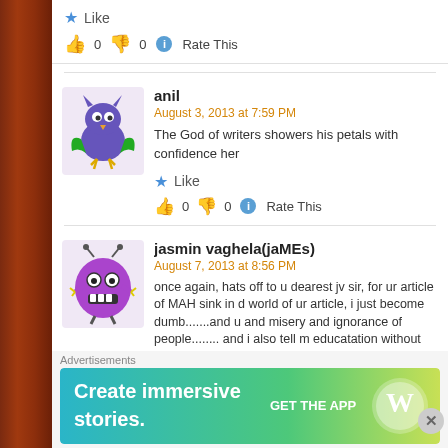Like
👍 0 👎 0 ℹ Rate This
anil
August 3, 2013 at 7:59 PM
The God of writers showers his petals with confidence her
Like
👍 0 👎 0 ℹ Rate This
[Figure (illustration): Cartoon avatar of a purple bird-like creature with green wings and yellow feet]
jasmin vaghela(jaMEs)
August 7, 2013 at 8:56 PM
once again, hats off to u dearest jv sir, for ur article of MAH sink in d world of ur article, i just become dumb.......and u and misery and ignorance of people........ and i also tell m educatation without going to school because of ur humble
[Figure (illustration): Cartoon avatar of a purple alien/monster with antennae and big teeth]
Advertisements
[Figure (illustration): WordPress advertisement banner: Create immersive stories. GET THE APP with WordPress logo]